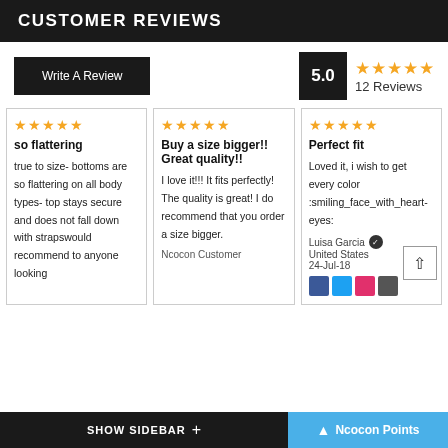CUSTOMER REVIEWS
Write A Review
5.0 — 12 Reviews
so flattering — true to size- bottoms are so flattering on all body types- top stays secure and does not fall down with strapswould recommend to anyone looking
Buy a size bigger!! Great quality!! — I love it!!! It fits perfectly! The quality is great! I do recommend that you order a size bigger.
Perfect fit — Loved it, i wish to get every color :smiling_face_with_heart-eyes: — Luisa Garcia, United States, 24-Jul-18
SHOW SIDEBAR + | Ncocon Points